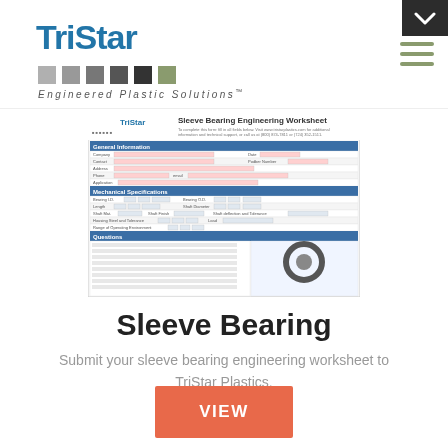[Figure (logo): TriStar logo with blue text, colored squares row, and italic tagline 'Engineered Plastic Solutions™']
[Figure (screenshot): Sleeve Bearing Engineering Worksheet form preview showing TriStar header, General Information and Mechanical Specifications sections with form fields, and a photo of a sleeve bearing component]
Sleeve Bearing
Submit your sleeve bearing engineering worksheet to TriStar Plastics.
VIEW